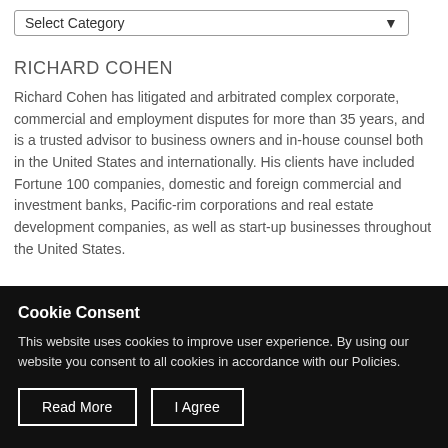[Figure (other): A dropdown select input with label 'Select Category' and a downward arrow indicator]
RICHARD COHEN
Richard Cohen has litigated and arbitrated complex corporate, commercial and employment disputes for more than 35 years, and is a trusted advisor to business owners and in-house counsel both in the United States and internationally. His clients have included Fortune 100 companies, domestic and foreign commercial and investment banks, Pacific-rim corporations and real estate development companies, as well as start-up businesses throughout the United States.
Cookie Consent
This website uses cookies to improve user experience. By using our website you consent to all cookies in accordance with our Policies.
Read More | I Agree